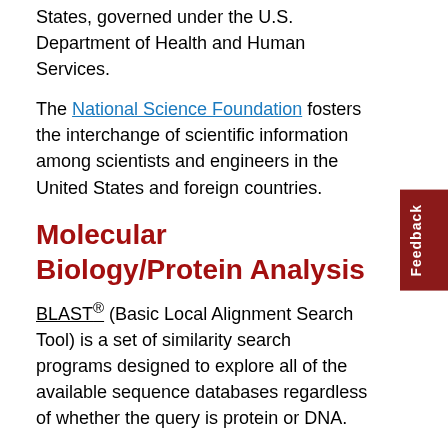States, governed under the U.S. Department of Health and Human Services.
The National Science Foundation fosters the interchange of scientific information among scientists and engineers in the United States and foreign countries.
Molecular Biology/Protein Analysis
BLAST® (Basic Local Alignment Search Tool) is a set of similarity search programs designed to explore all of the available sequence databases regardless of whether the query is protein or DNA.
The Baylor College of Medicine (BCM) Search Launcher is an ongoing project to organize molecular biology-related search and analysis services available on the web by function, by providing a single point-of-